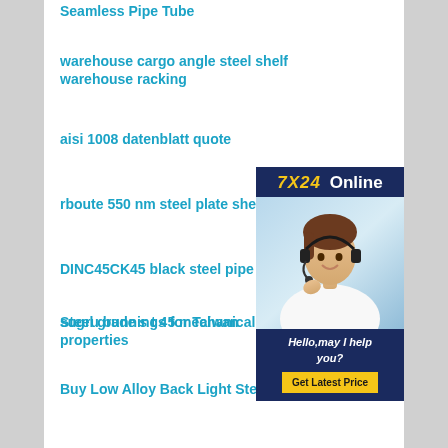Seamless Pipe Tube
warehouse cargo angle steel shelf warehouse racking
aisi 1008 datenblatt quote
rboute 550 nm steel plate sheet
DINC45CK45 black steel pipe
sugru bunnings for Taiwan
Steel grade s t 45 mechanical properties
[Figure (illustration): Customer service advertisement banner with '7X24 Online' header, photo of woman with headset, text 'Hello, may I help you?' and 'Get Latest Price' button on dark blue background]
Buy Low Alloy Back Light Steel Sheet